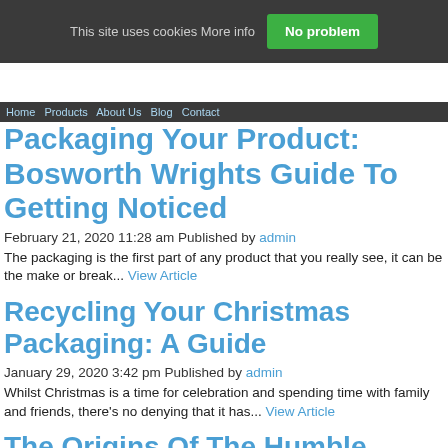This site uses cookies More info  No problem
Packaging Your Product: Bosworth Wrights Guide To Getting Noticed
February 21, 2020 11:28 am Published by admin
The packaging is the first part of any product that you really see, it can be the make or break... View Article
Recycling Your Christmas Packaging: A Guide
January 29, 2020 3:42 pm Published by admin
Whilst Christmas is a time for celebration and spending time with family and friends, there's no denying that it has... View Article
The Origins Of The Humble Cardboard Box
November 11, 2019 12:50 pm Published by admin
Every story has to start somewhere and whilst we take them for granted,